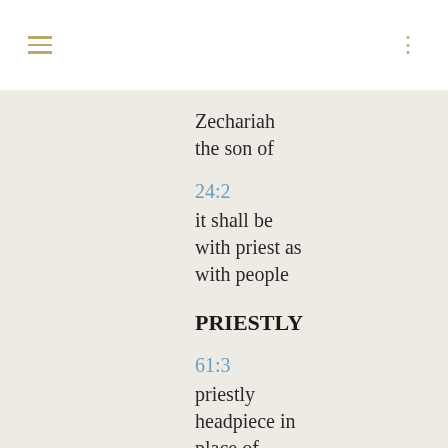Zechariah
the son of
24:2
it shall be
with priest as
with people
PRIESTLY
61:3
priestly
headpiece in
place of
ashes
61:10
bridegroom
dressed in
priestly attire
PRIESTS